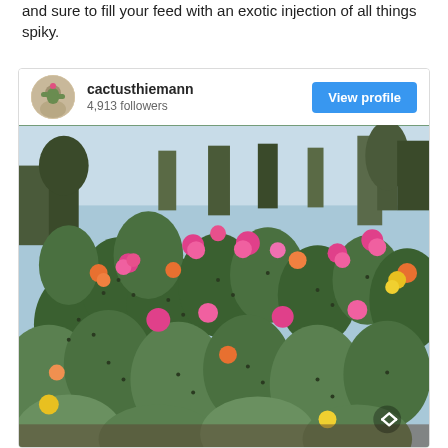and sure to fill your feed with an exotic injection of all things spiky.
[Figure (screenshot): Instagram profile card for cactusthiemann showing 4,913 followers with a View profile button, and a photo of flowering prickly pear cacti with colorful pink, orange, yellow flowers in bloom.]